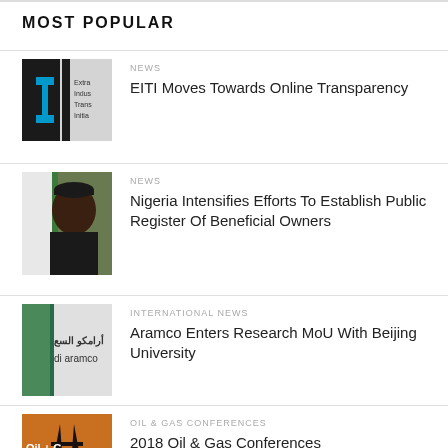MOST POPULAR
NEWS
EITI Moves Towards Online Transparency
NEWS
Nigeria Intensifies Efforts To Establish Public Register Of Beneficial Owners
INTERNATIONAL NEWS
Aramco Enters Research MoU With Beijing University
OIL & GAS CONFERENCES
2018 Oil & Gas Conferences